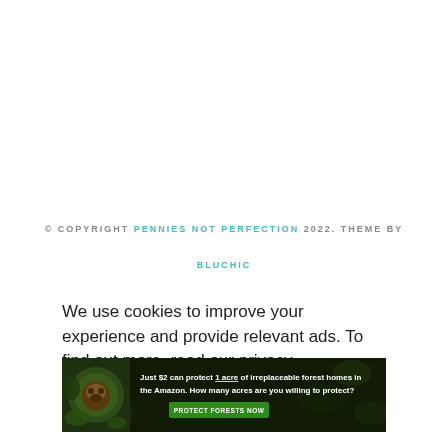© COPYRIGHT PENNIES NOT PERFECTION 2022. THEME BY BLUCHIC
We use cookies to improve your experience and provide relevant ads. To find out more, read our privacy
[Figure (illustration): Advertisement banner with dark background showing a sloth image on the left and text: 'Just $2 can protect 1 acre of irreplaceable forest homes in the Amazon. How many acres are you willing to protect?' with a green 'PROTECT FORESTS NOW' button]